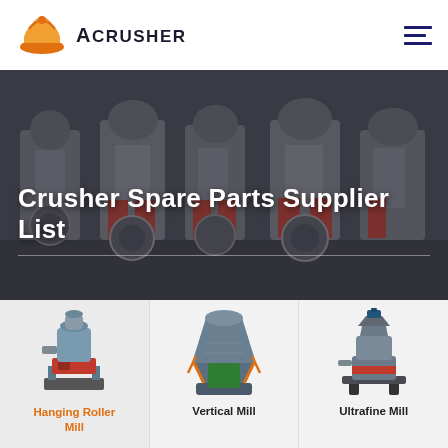[Figure (logo): Acrusher logo: orange hard-hat icon with a stylized crown/roller shape, beside bold uppercase text ACRUSHER]
[Figure (photo): Industrial machinery manufacturing floor showing rows of large grey mill/crusher machines with red hydraulic components and large gear wheels, in a factory setting]
Crusher Spare Parts Supplier List
[Figure (photo): Hanging Roller Mill machine - tall cylindrical grey industrial grinding mill with red accent box at base]
Hanging Roller Mill
[Figure (photo): Vertical Mill machine - large grey cone-shaped vertical grinding mill with orange support struts and green base]
Vertical Mill
[Figure (photo): Ultrafine Mill machine - compact grey industrial ultrafine grinding mill with red accent and blue motor on top]
Ultrafine Mill